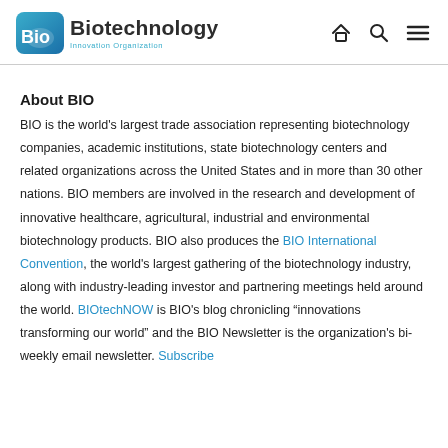Biotechnology Innovation Organization
About BIO
BIO is the world's largest trade association representing biotechnology companies, academic institutions, state biotechnology centers and related organizations across the United States and in more than 30 other nations. BIO members are involved in the research and development of innovative healthcare, agricultural, industrial and environmental biotechnology products. BIO also produces the BIO International Convention, the world's largest gathering of the biotechnology industry, along with industry-leading investor and partnering meetings held around the world. BIOtechNOW is BIO's blog chronicling “innovations transforming our world” and the BIO Newsletter is the organization's bi-weekly email newsletter. Subscribe